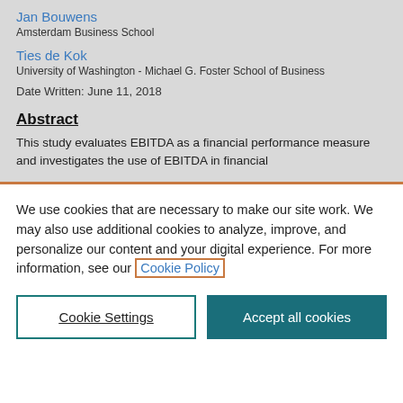Jan Bouwens
Amsterdam Business School
Ties de Kok
University of Washington - Michael G. Foster School of Business
Date Written: June 11, 2018
Abstract
This study evaluates EBITDA as a financial performance measure and investigates the use of EBITDA in financial
We use cookies that are necessary to make our site work. We may also use additional cookies to analyze, improve, and personalize our content and your digital experience. For more information, see our Cookie Policy
Cookie Settings
Accept all cookies